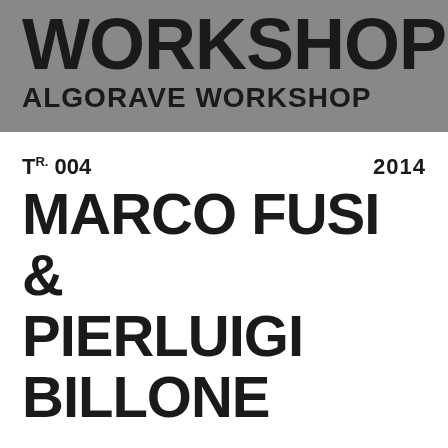WORKSHOP ALGORAVE WORKSHOP
Tr. 004   2014
MARCO FUSI & PIERLUIGI BILLONE
Tr. 005   2014